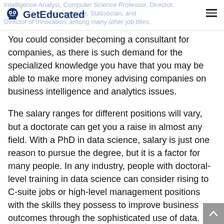GetEducated
You could consider becoming a consultant for companies, as there is such demand for the specialized knowledge you have that you may be able to make more money advising companies on business intelligence and analytics issues.
The salary ranges for different positions will vary, but a doctorate can get you a raise in almost any field. With a PhD in data science, salary is just one reason to pursue the degree, but it is a factor for many people. In any industry, people with doctoral-level training in data science can consider rising to C-suite jobs or high-level management positions with the skills they possess to improve business outcomes through the sophisticated use of data.
As you consider how you will use the knowledge you gain from a PhD data science program, you have many fine options for employment. We live in a world where information is king, and using that information in real-